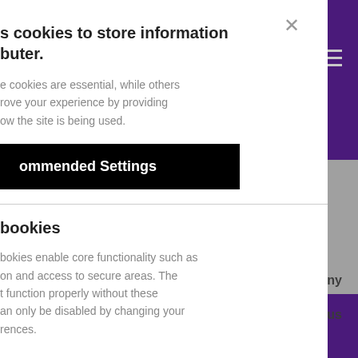s cookies to store information
buter.
e cookies are essential, while others
rove your experience by providing
ow the site is being used.
ommended Settings
bookies
bokies enable core functionality such as
on and access to secure areas. The
t function properly without these
an only be disabled by changing your
rences.
ow. Learn as if you
er."
bany
t us